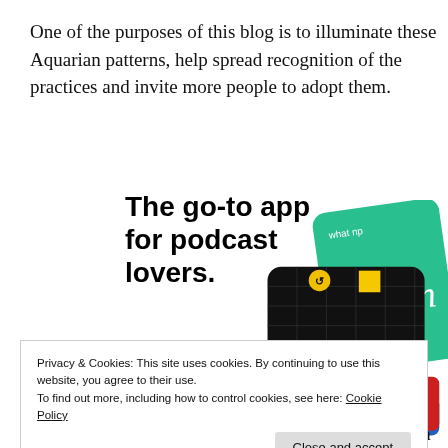One of the purposes of this blog is to illuminate these Aquarian patterns, help spread recognition of the practices and invite more people to adopt them.
[Figure (illustration): Podcast app advertisement showing the text 'The go-to app for podcast lovers.' with a red 'Download now' link, and an image of app cards including a 99% Invisible podcast card on a black background with a yellow square, and teal and other colored cards partially visible.]
Privacy & Cookies: This site uses cookies. By continuing to use this website, you agree to their use.
To find out more, including how to control cookies, see here: Cookie Policy
experience this channelling process. Lately I've been